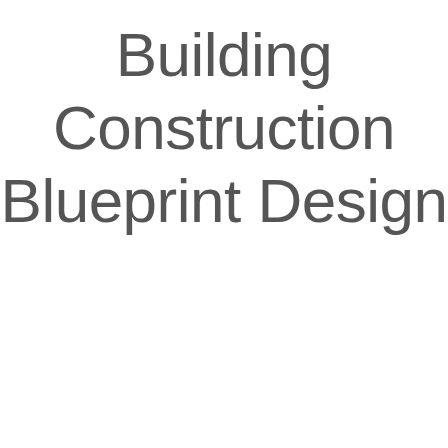Building Construction Blueprint Design